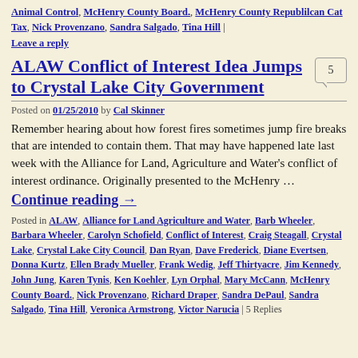Animal Control, McHenry County Board., McHenry County Republilcan Cat Tax, Nick Provenzano, Sandra Salgado, Tina Hill | Leave a reply
ALAW Conflict of Interest Idea Jumps to Crystal Lake City Government
Posted on 01/25/2010 by Cal Skinner
Remember hearing about how forest fires sometimes jump fire breaks that are intended to contain them. That may have happened late last week with the Alliance for Land, Agriculture and Water's conflict of interest ordinance. Originally presented to the McHenry …
Continue reading →
Posted in ALAW, Alliance for Land Agriculture and Water, Barb Wheeler, Barbara Wheeler, Carolyn Schofield, Conflict of Interest, Craig Steagall, Crystal Lake, Crystal Lake City Council, Dan Ryan, Dave Frederick, Diane Evertsen, Donna Kurtz, Ellen Brady Mueller, Frank Wedig, Jeff Thirtyacre, Jim Kennedy, John Jung, Karen Tynis, Ken Koehler, Lyn Orphal, Mary McCann, McHenry County Board., Nick Provenzano, Richard Draper, Sandra DePaul, Sandra Salgado, Tina Hill, Veronica Armstrong, Victor Narucia | 5 Replies